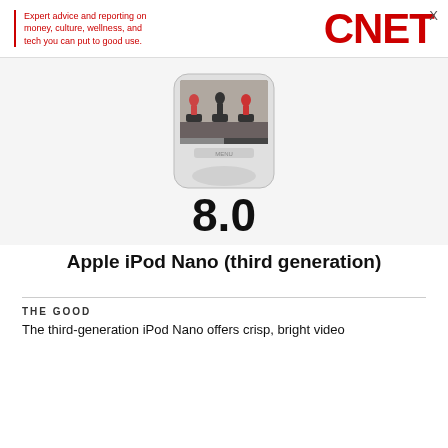Expert advice and reporting on money, culture, wellness, and tech you can put to good use.  CNET
[Figure (photo): iPod Nano third generation device showing a video of people on treadmills on its screen, with rounded rectangular silver body and MENU button]
8.0
Apple iPod Nano (third generation)
THE GOOD
The third-generation iPod Nano offers crisp, bright video